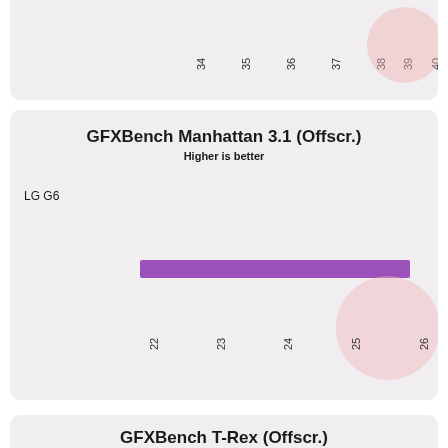[Figure (bar-chart): Horizontal bar chart for LG G6, bar reaches approximately 25.5 on x-axis from ~22 start]
[Figure (bar-chart): Partial view of T-Rex benchmark chart at bottom]